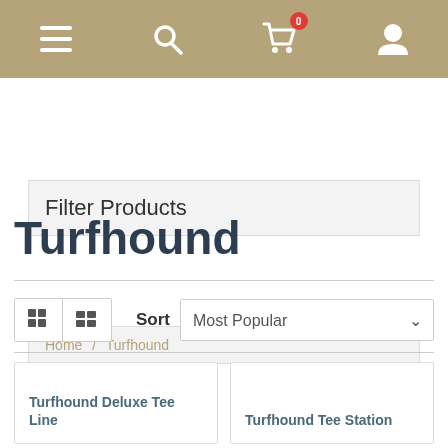[Figure (screenshot): Navigation bar with tan/khaki background containing hamburger menu icon, search icon, shopping cart icon with red badge showing 0, and user profile icon]
Filter Products
Home / Turfhound
Turfhound
Sort  Most Popular
Turfhound Deluxe Tee Line
Turfhound Tee Station